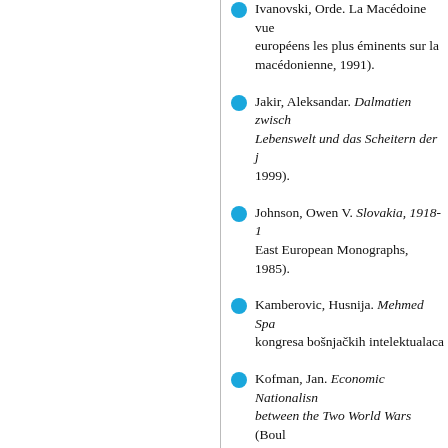Ivanovski, Orde. La Macédoine vue par les européens les plus éminents sur la question macédonienne, 1991).
Jakir, Aleksandar. Dalmatien zwischen den Kriegen: Agrarische Lebenswelt und das Scheitern der jugoslawischen Integration, 1999).
Johnson, Owen V. Slovakia, 1918-1938. East European Monographs, 1985).
Kamberovic, Husnija. Mehmed Spaho. kongresa bošnjačkih intelektualaca
Kofman, Jan. Economic Nationalism and Development between the Two World Wars (Boulder:
Kovtun, Jiří. Republika v nebezpečném světě / Republic in an insecure world. The 2005).
Lewandowski, Jozef. Federalizm. L (Warsaw: PWN, 1962).
Lewandowski, Jozef. Imperializm słabości: wschodniej piłsudczyków 1921-1922